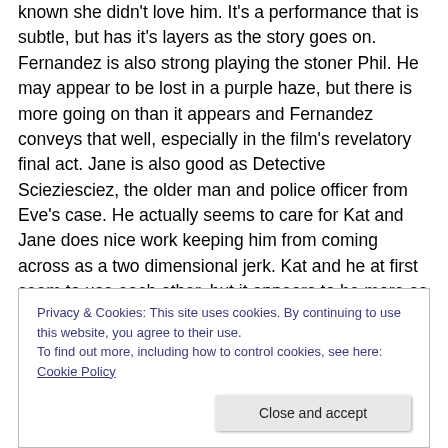known she didn't love him. It's a performance that is subtle, but has it's layers as the story goes on. Fernandez is also strong playing the stoner Phil. He may appear to be lost in a purple haze, but there is more going on than it appears and Fernandez conveys that well, especially in the film's revelatory final act. Jane is also good as Detective Scieziesciez, the older man and police officer from Eve's case. He actually seems to care for Kat and Jane does nice work keeping him from coming across as a two dimensional jerk. Kat and he at first seem to use each other, but it appears to be more as the story progresses
Privacy & Cookies: This site uses cookies. By continuing to use this website, you agree to their use.
To find out more, including how to control cookies, see here: Cookie Policy
Close and accept